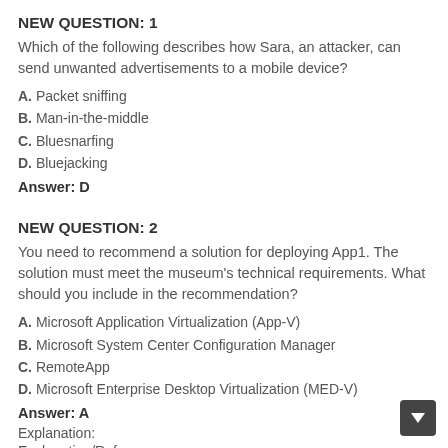NEW QUESTION: 1
Which of the following describes how Sara, an attacker, can send unwanted advertisements to a mobile device?
A. Packet sniffing
B. Man-in-the-middle
C. Bluesnarfing
D. Bluejacking
Answer: D
NEW QUESTION: 2
You need to recommend a solution for deploying App1. The solution must meet the museum's technical requirements. What should you include in the recommendation?
A. Microsoft Application Virtualization (App-V)
B. Microsoft System Center Configuration Manager
C. RemoteApp
D. Microsoft Enterprise Desktop Virtualization (MED-V)
Answer: A
Explanation:
Explanation/Reference: